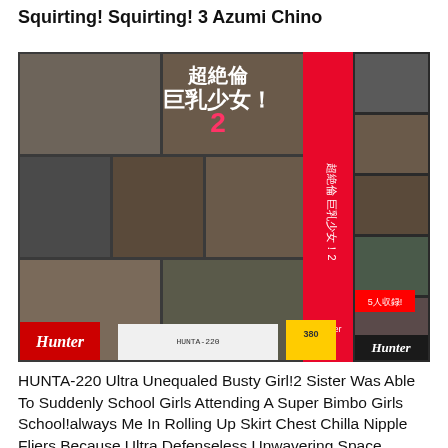Squirting! Squirting! 3 Azumi Chino
[Figure (photo): DVD cover image for HUNTA-220, a Japanese adult video release by Hunter, showing multiple scenes on the cover with Japanese text including 超絶倫巨乳少女！2]
HUNTA-220 Ultra Unequaled Busty Girl!2 Sister Was Able To Suddenly School Girls Attending A Super Bimbo Girls School!always Me In Rolling Up Skirt Chest Chilla Nipple Fliers Because Ultra Defenseless Unwavering Space Erection Every